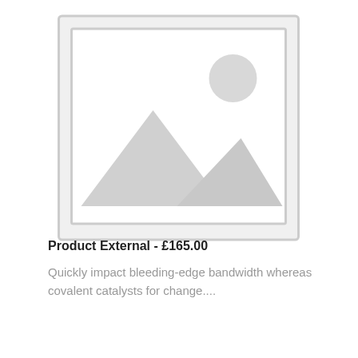[Figure (illustration): Placeholder image icon showing a landscape silhouette with mountains and a sun inside a picture frame outline, in light grey.]
Product External  -  £165.00
Quickly impact bleeding-edge bandwidth whereas covalent catalysts for change....